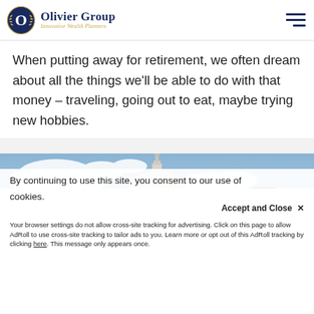Olivier Group — Innovative Wealth Planners
When putting away for retirement, we often dream about all the things we'll be able to do with that money – traveling, going out to eat, maybe trying new hobbies.
[Figure (photo): Photo of the US Capitol dome with the American flag flying against a cloudy sky]
By continuing to use this site, you consent to our use of cookies.
Accept and Close ×
Your browser settings do not allow cross-site tracking for advertising. Click on this page to allow AdRoll to use cross-site tracking to tailor ads to you. Learn more or opt out of this AdRoll tracking by clicking here. This message only appears once.